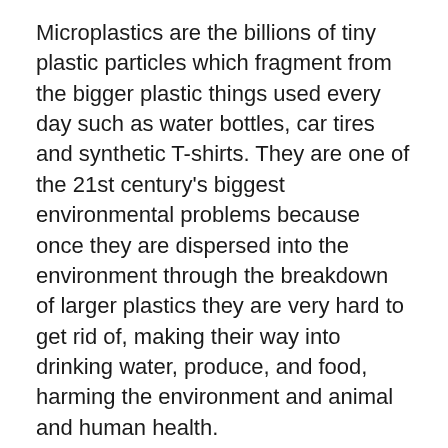Microplastics are the billions of tiny plastic particles which fragment from the bigger plastic things used every day such as water bottles, car tires and synthetic T-shirts. They are one of the 21st century's biggest environmental problems because once they are dispersed into the environment through the breakdown of larger plastics they are very hard to get rid of, making their way into drinking water, produce, and food, harming the environment and animal and human health.
“It is of great significance to develop a robot to accurately collect and sample detrimental microplastic pollutants from the aquatic environment,” said Yuyan Wang, a researcher at the Polymer Research Institute